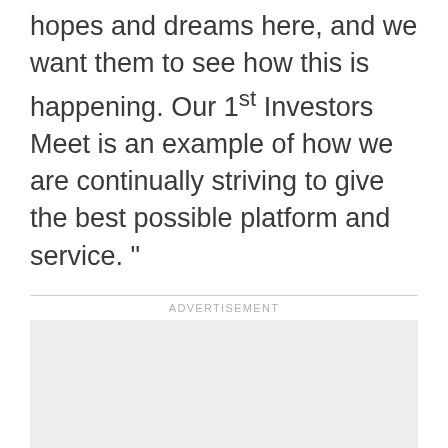hopes and dreams here, and we want them to see how this is happening. Our 1st Investors Meet is an example of how we are continually striving to give the best possible platform and service. "
ADVERTISEMENT
[Figure (other): Advertisement placeholder box (light gray rectangle)]